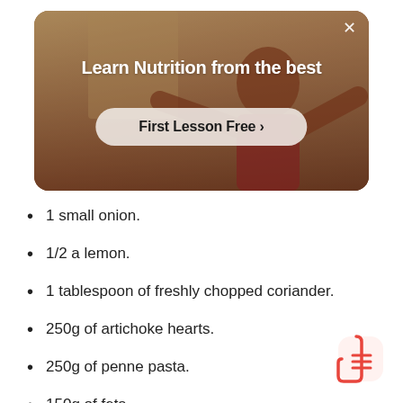[Figure (screenshot): Banner ad showing a person in a kitchen with text 'Learn Nutrition from the best' and a 'First Lesson Free >' button on a semi-transparent pill-shaped background. A close (X) button is in the top right corner.]
1 small onion.
1/2 a lemon.
1 tablespoon of freshly chopped coriander.
250g of artichoke hearts.
250g of penne pasta.
150g of feta.